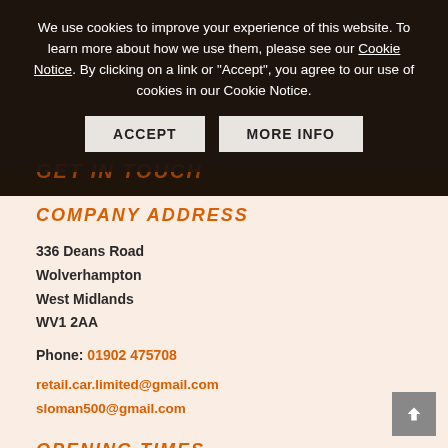We use cookies to improve your experience of this website. To learn more about how we use them, please see our Cookie Notice. By clicking on a link or "Accept", you agree to our use of cookies in our Cookie Notice.
ACCEPT | MORE INFO
GET IN TOUCH
COMPANY ADDRESS
336 Deans Road
Wolverhampton
West Midlands
WV1 2AA
Phone: 01902 475708
retail.car.limited@gmail.com
sloman500@gmail.com
OPENING TIMES
Monday - Friday: 09:00 - 18:00
Saturday: 09:00 - 14:00
Sunday: ByPrior Appointment Only